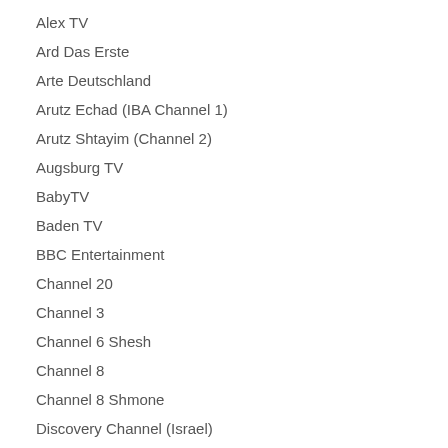Alex TV
Ard Das Erste
Arte Deutschland
Arutz Echad (IBA Channel 1)
Arutz Shtayim (Channel 2)
Augsburg TV
BabyTV
Baden TV
BBC Entertainment
Channel 20
Channel 3
Channel 6 Shesh
Channel 8
Channel 8 Shmone
Discovery Channel (Israel)
Disney Channel Israel
Disney Junior (Israel)